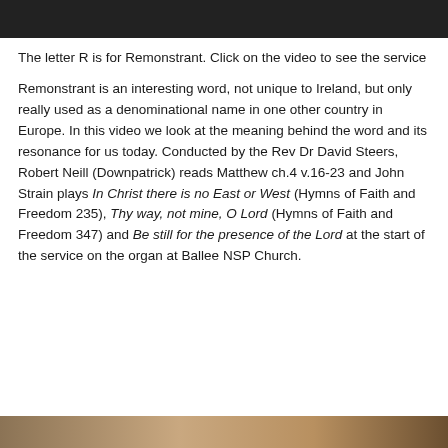[Figure (photo): Top partial image of a church or building interior, dark/black tones]
The letter R is for Remonstrant. Click on the video to see the service
Remonstrant is an interesting word, not unique to Ireland, but only really used as a denominational name in one other country in Europe. In this video we look at the meaning behind the word and its resonance for us today. Conducted by the Rev Dr David Steers, Robert Neill (Downpatrick) reads Matthew ch.4 v.16-23 and John Strain plays In Christ there is no East or West (Hymns of Faith and Freedom 235), Thy way, not mine, O Lord (Hymns of Faith and Freedom 347) and Be still for the presence of the Lord at the start of the service on the organ at Ballee NSP Church.
[Figure (photo): Bottom partial image, warm brown/tan tones of a church interior]